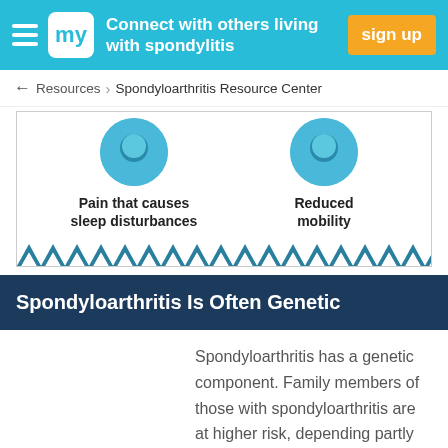Connect with others living with spondylitis   sign up
← Resources › Spondyloarthritis Resource Center
[Figure (infographic): Partial infographic showing two symptoms: 'Pain that causes sleep disturbances' and 'Reduced mobility', each with a teal circular icon, bordered with a chevron/zigzag teal pattern at the bottom.]
Spondyloarthritis Is Often Genetic
Spondyloarthritis has a genetic component. Family members of those with spondyloarthritis are at higher risk, depending partly on